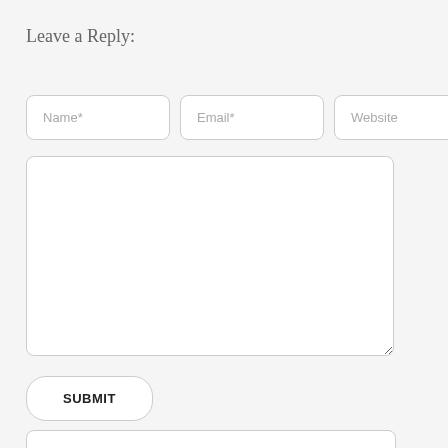Leave a Reply:
[Figure (screenshot): A web comment form with three input fields (Name*, Email*, Website), a large textarea for comments, a SUBMIT button, and a partial bottom box visible at the bottom edge.]